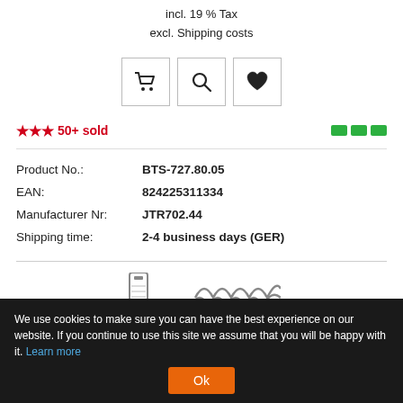incl. 19 % Tax
excl. Shipping costs
[Figure (other): Three icon buttons: shopping cart, magnifying glass, and heart/favorite]
★★★ 50+ sold
| Product No.: | BTS-727.80.05 |
| EAN: | 824225311334 |
| Manufacturer Nr: | JTR702.44 |
| Shipping time: | 2-4 business days (GER) |
[Figure (other): Two product feature icons at bottom of page]
We use cookies to make sure you can have the best experience on our website. If you continue to use this site we assume that you will be happy with it. Learn more